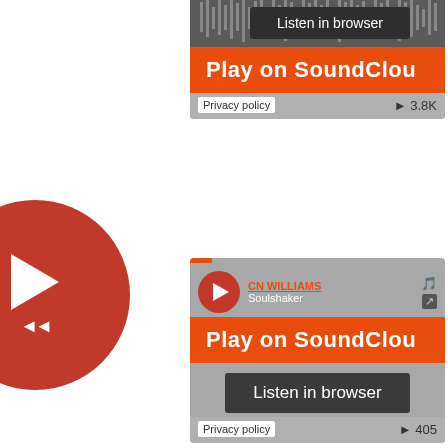[Figure (screenshot): Screenshot of a webpage showing a large red circular play button on the left and three SoundCloud embedded music player widgets on the right. Each widget has an orange 'Play on SoundCloud' banner, a 'Listen in browser' dark button, a privacy policy label, and play counts. Top player is partially cut off showing waveform with 3.8K plays. Middle player shows CN WILLIAMS - Soulshaker with 405 plays. Bottom player shows Guestho... DJ Me... partially cut off.]